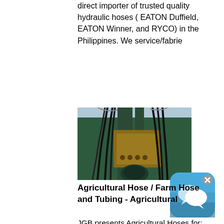direct importer of trusted quality hydraulic hoses ( EATON Duffield, EATON Winner, and RYCO) in the Philippines. We service/fabrie
[Figure (photo): Close-up photo of hydraulic hoses and fittings attached to heavy industrial machinery, showing multiple black hoses connected to a yellow/brown metal component on a large green machine.]
[Figure (screenshot): A blue chat/messaging app icon with a white speech bubble graphic and a small 'x' close button in the top-right corner.]
Agricultural Hose / Farm Hose and Tubing - Agricultural
JGB presents Agricultural Hoses for: Light Agricultural Spraying, Agriculture Liquid Fertilizers, Irrigation, Air Seeder Lines, Agricultural Weed Spraying. Agricultural Hose Program. Oil field